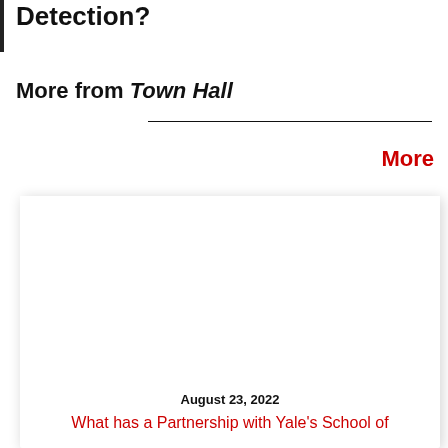Detection?
More from Town Hall
More
[Figure (other): Card with image placeholder area, date, and article title link]
August 23, 2022
What has a Partnership with Yale's School of